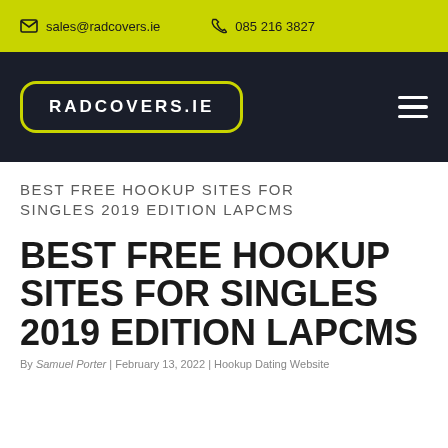sales@radcovers.ie  085 216 3827
[Figure (logo): RADCOVERS.IE logo in white text on dark background inside a lime-green rounded rectangle border, with a hamburger menu icon on the right]
BEST FREE HOOKUP SITES FOR SINGLES 2019 EDITION LAPCMS
BEST FREE HOOKUP SITES FOR SINGLES 2019 EDITION LAPCMS
By Samuel Porter | February 13, 2022 | Hookup Dating Website